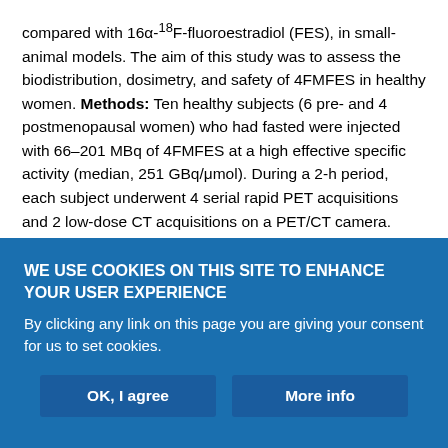compared with 16α-18F-fluoroestradiol (FES), in small-animal models. The aim of this study was to assess the biodistribution, dosimetry, and safety of 4FMFES in healthy women. Methods: Ten healthy subjects (6 pre- and 4 postmenopausal women) who had fasted were injected with 66–201 MBq of 4FMFES at a high effective specific activity (median, 251 GBq/μmol). During a 2-h period, each subject underwent 4 serial rapid PET acquisitions and 2 low-dose CT acquisitions on a PET/CT camera. Volumes of interest were drawn over source organs for each PET acquisition, allowing the calculation of time–activity curves, residence times, and radiation dosimetry estimates. Serial blood samples were obtained to measure blood
WE USE COOKIES ON THIS SITE TO ENHANCE YOUR USER EXPERIENCE
By clicking any link on this page you are giving your consent for us to set cookies.